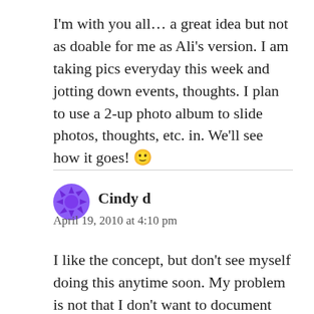I'm with you all… a great idea but not as doable for me as Ali's version. I am taking pics everyday this week and jotting down events, thoughts. I plan to use a 2-up photo album to slide photos, thoughts, etc. in. We'll see how it goes! 🙂
Cindy d
April 19, 2010 at 4:10 pm
I like the concept, but don't see myself doing this anytime soon. My problem is not that I don't want to document the little details, but more that I don't want to leave anything out. Why is THIS week more worthy than last week